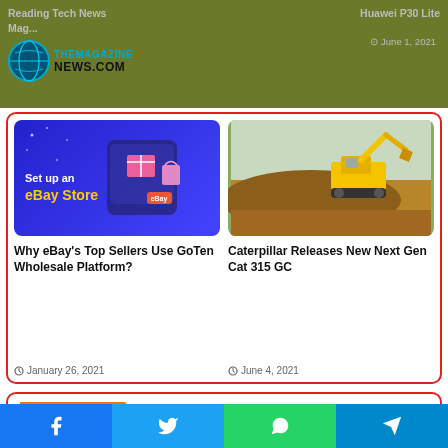Reading Tech News Magazine | Huawei P30 Lite
[Figure (logo): TheMagazineNews.com logo with circular globe icon]
[Figure (photo): eBay Store promotional graphic with text 'Set up an eBay Store' on blue background]
Why eBay's Top Sellers Use GoTen Wholesale Platform?
January 26, 2021
[Figure (photo): Caterpillar excavator working on a dirt site, yellow machine digging earth]
Caterpillar Releases New Next Gen Cat 315 GC
June 4, 2021
Leave a Reply
You must be logged in to post a comment.